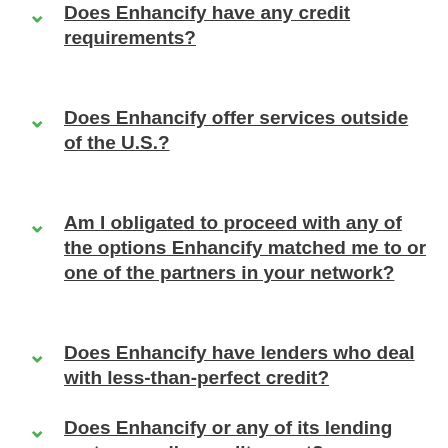Does Enhancify have any credit requirements?
Does Enhancify offer services outside of the U.S.?
Am I obligated to proceed with any of the options Enhancify matched me to or one of the partners in your network?
Does Enhancify have lenders who deal with less-than-perfect credit?
Does Enhancify or any of its lending partners pull a credit report?